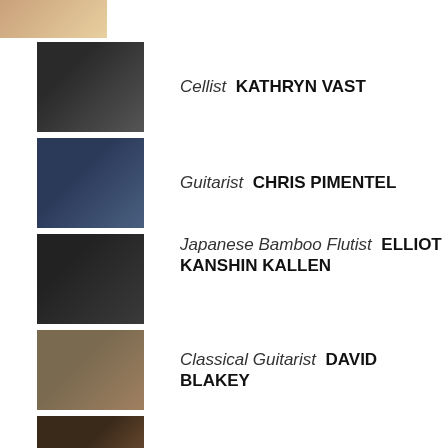Cellist  KATHRYN VAST
Guitarist  CHRIS PIMENTEL
Japanese Bamboo Flutist  ELLIOT KANSHIN KALLEN
Classical Guitarist  DAVID BLAKEY
Tenor  MARK KRATZ
Sax and Flutist  RITA THIES